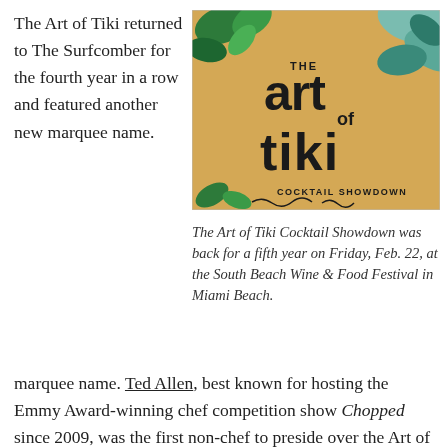The Art of Tiki returned to The Surfcomber for the fourth year in a row and featured another new marquee name.
[Figure (photo): Photo of The Art of Tiki Cocktail Showdown sign with tropical leaf decorations on a tan/sandy background]
The Art of Tiki Cocktail Showdown was back for a fifth year on Friday, Feb. 22, at the South Beach Wine & Food Festival in Miami Beach.
Ted Allen, best known for hosting the Emmy Award-winning chef competition show Chopped since 2009, was the first non-chef to preside over the Art of Tiki (his bio calls him an author and television personality). His TV role made him well suited to judge